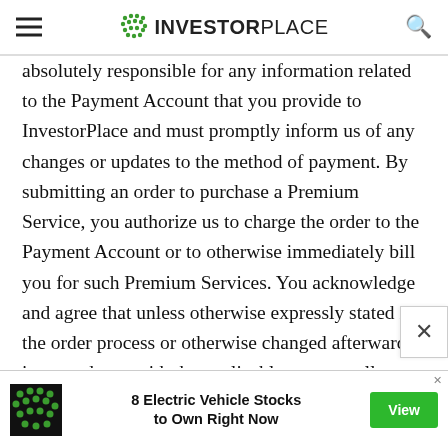INVESTORPLACE
absolutely responsible for any information related to the Payment Account that you provide to InvestorPlace and must promptly inform us of any changes or updates to the method of payment. By submitting an order to purchase a Premium Service, you authorize us to charge the order to the Payment Account or to otherwise immediately bill you for such Premium Services. You acknowledge and agree that unless otherwise expressly stated in the order process or otherwise changed afterwards in accordance with the applicable process, all annual, monthly or other recurring Fees related to the Premium Services or otherwise referenced in this
[Figure (infographic): Advertisement banner: InvestorPlace logo icon on left, text '8 Electric Vehicle Stocks to Own Right Now' in center, green 'View' button on right]